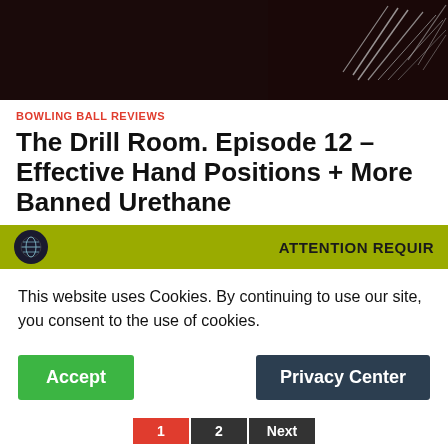[Figure (photo): Dark hero image with bowling-related graphic, dark red and black tones with feather/wing graphic on right side]
BOWLING BALL REVIEWS
The Drill Room. Episode 12 – Effective Hand Positions + More Banned Urethane
March 9, 2022  -  by  -  Leave a Comment
Click Here To Get The Best Price! Join us on #TheDrillRoom as we talk about effective hand position for the modern game of bowling, as well as discussing the newest
ATTENTION REQUIR
This website uses Cookies. By continuing to use our site, you consent to the use of cookies.
Accept
Privacy Center
1  2  Next